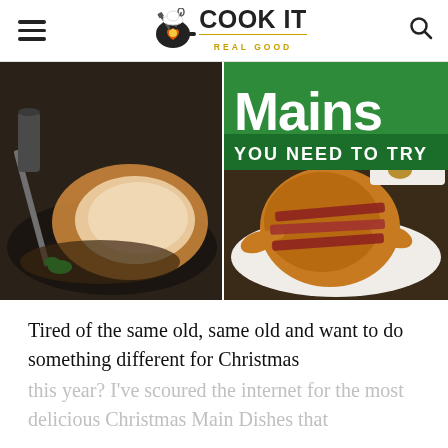Cook It Real Good
[Figure (photo): Collage of Christmas main dishes: sliced roast pork/turkey on the left, whole roasted turkey with bacon on the right. A green banner overlay reads 'Mains YOU NEED TO TRY'.]
Tired of the same old, same old and want to do something different for Christmas this year?  I've scoured the internet for the most delicious Christmas Main Dishes that